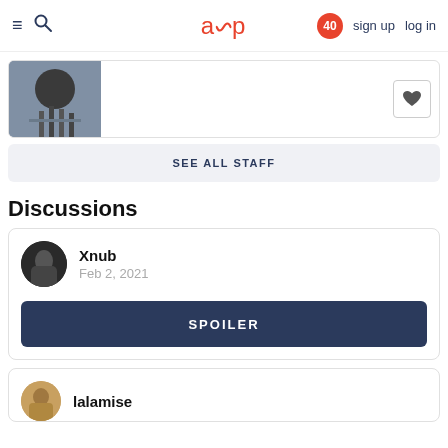≡ 🔍  aup  40  sign up  log in
[Figure (screenshot): Staff card with dark anime-style image on left, heart/favorite button on right]
SEE ALL STAFF
Discussions
Xnub
Feb 2, 2021
SPOILER
lalamise